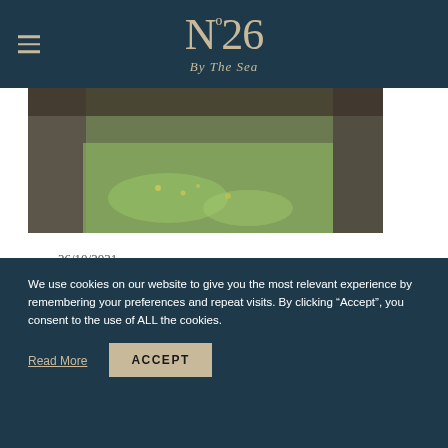Nº26 By The Sea
[Figure (photo): Photograph of castle ruins with stone walls and green grassy grounds near Oban, Scotland]
26/10/2021
10 Castles Near Oban
We use cookies on our website to give you the most relevant experience by remembering your preferences and repeat visits. By clicking "Accept", you consent to the use of ALL the cookies.
Read More
ACCEPT